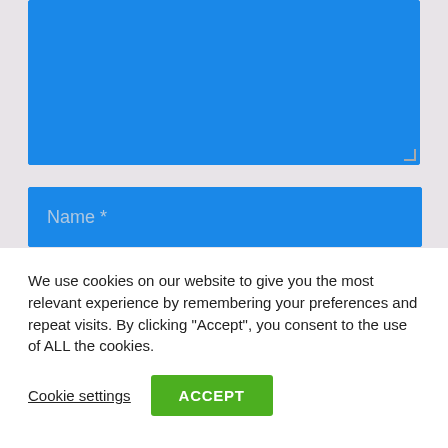[Figure (screenshot): Blue textarea form field (large comment/message input area) with resize handle at bottom right]
Name *
Email *
We use cookies on our website to give you the most relevant experience by remembering your preferences and repeat visits. By clicking “Accept”, you consent to the use of ALL the cookies.
Cookie settings
ACCEPT